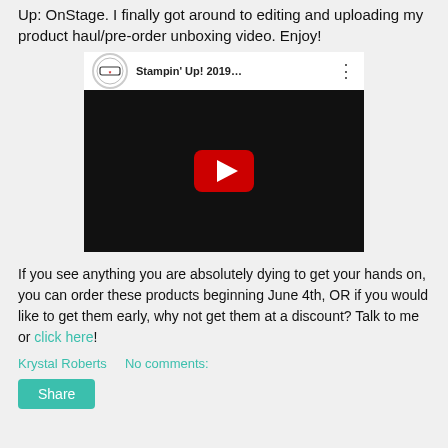Up: OnStage. I finally got around to editing and uploading my product haul/pre-order unboxing video. Enjoy!
[Figure (screenshot): YouTube video thumbnail showing Stampin' Up! 2019 product haul/pre-order unboxing video with play button, channel icon, title 'Stampin' Up! 2019...' and crafting supplies visible in background]
If you see anything you are absolutely dying to get your hands on, you can order these products beginning June 4th, OR if you would like to get them early, why not get them at a discount? Talk to me or click here!
Krystal Roberts    No comments:
Share